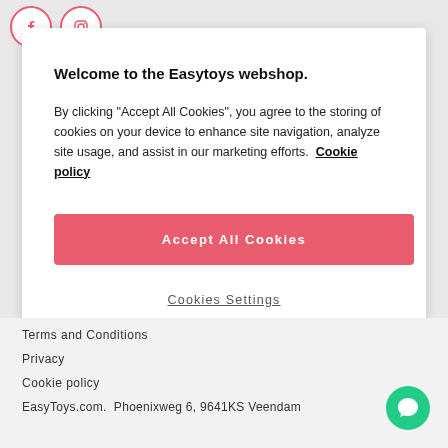[Figure (illustration): Two circular social media icon buttons (Facebook and Instagram) with pink/red outlines at top left of page]
Welcome to the Easytoys webshop.
By clicking "Accept All Cookies", you agree to the storing of cookies on your device to enhance site navigation, analyze site usage, and assist in our marketing efforts.  Cookie policy
[Figure (other): Pink/red Accept All Cookies button]
Cookies Settings
Terms and Conditions
Privacy
Cookie policy
EasyToys.com.  Phoenixweg 6, 9641KS Veendam
[Figure (illustration): Green circular chat/message bubble button at bottom right]